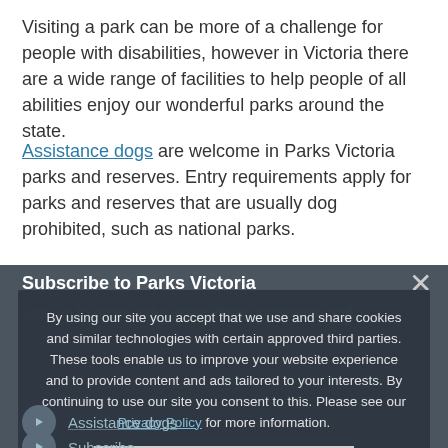Visiting a park can be more of a challenge for people with disabilities, however in Victoria there are a wide range of facilities to help people of all abilities enjoy our wonderful parks around the state.
Assistance dogs are welcome in Parks Victoria parks and reserves. Entry requirements apply for parks and reserves that are usually dog prohibited, such as national parks.
Subscribe to Parks Victoria
Sign up to receive the latest ideas, inspiration and...
By using our site you accept that we use and share cookies and similar technologies with certain approved third parties. These tools enable us to improve your website experience and to provide content and ads tailored to your interests. By continuing to use our site you consent to this. Please see our Privacy Policy for more information.
Assistance dogs
Subscribe